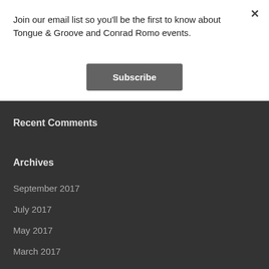Join our email list so you'll be the first to know about Tongue & Groove and Conrad Romo events.
Subscribe
Recent Comments
Archives
September 2017
July 2017
May 2017
March 2017